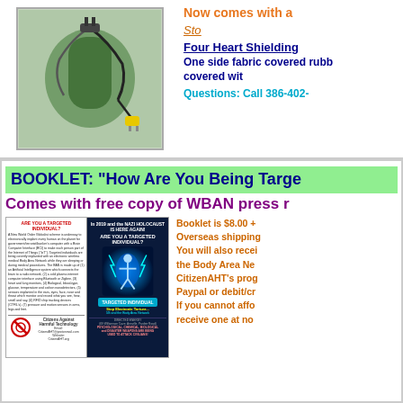[Figure (photo): Photo of an electronic device with wires and components attached to a green jar or container, with a yellow connector/plug visible.]
Now comes with a
Sto
Four Heart Shielding
One side fabric covered rubb covered wit
Questions:  Call 386-402-
BOOKLET:  "How Are You Being Targe"
Comes with free copy of WBAN press r
[Figure (photo): Image of a booklet showing two pages: left page with text 'Are You A Targeted Individual?' and right page with 'Targeted Individual Stop Electronic Torture 5G and the Body Area Network' with a blue glowing figure illustration. Bottom shows Citizens Against Harmful Technology logo and contact info.]
Booklet is $8.00 + Overseas shipping You will also recei the Body Area Ne CitizenAHT's prog Paypal or debit/cr If you cannot affo receive one at no